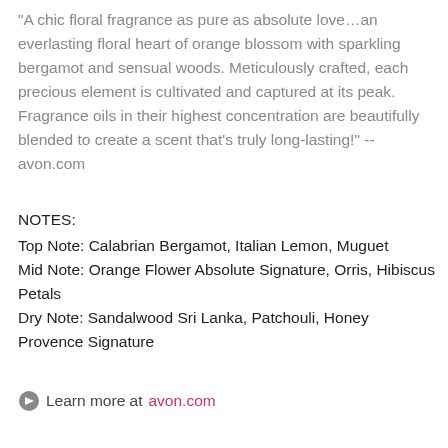"A chic floral fragrance as pure as absolute love…an everlasting floral heart of orange blossom with sparkling bergamot and sensual woods. Meticulously crafted, each precious element is cultivated and captured at its peak. Fragrance oils in their highest concentration are beautifully blended to create a scent that's truly long-lasting!" -- avon.com
NOTES:
Top Note: Calabrian Bergamot, Italian Lemon, Muguet
Mid Note: Orange Flower Absolute Signature, Orris, Hibiscus Petals
Dry Note: Sandalwood Sri Lanka, Patchouli, Honey Provence Signature
Learn more at avon.com